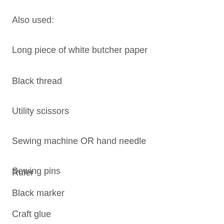Also used:
Long piece of white butcher paper
Black thread
Utility scissors
Sewing machine OR hand needle
Sewing pins
Ruler
Black marker
Craft glue